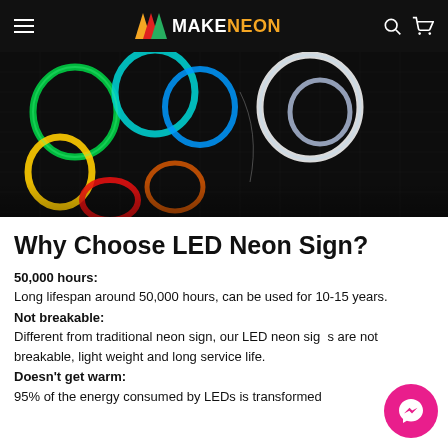MAKENEON
[Figure (photo): Colorful LED neon light strips in various colors including green, blue, yellow, white, and red arranged on a dark grid background]
Why Choose LED Neon Sign?
50,000 hours: Long lifespan around 50,000 hours, can be used for 10-15 years.
Not breakable: Different from traditional neon sign, our LED neon signs are not breakable, light weight and long service life.
Doesn't get warm: 95% of the energy consumed by LEDs is transformed